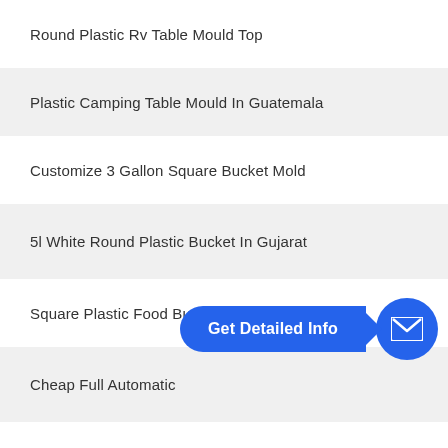Round Plastic Rv Table Mould Top
Plastic Camping Table Mould In Guatemala
Customize 3 Gallon Square Bucket Mold
5l White Round Plastic Bucket In Gujarat
Square Plastic Food Bucket Tunisia
Cheap Full Automatic
Hot Sale Rotational Waste Bin Mould Factory
Discount Stackable Outdoor Chair Quote
Plastic Injection Cap Mould Syria
Dark Grey Plastic Table Mould Top Texture